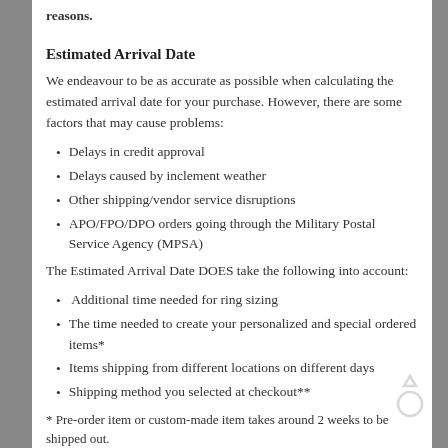reasons.
Estimated Arrival Date
We endeavour to be as accurate as possible when calculating the estimated arrival date for your purchase. However, there are some factors that may cause problems:
Delays in credit approval
Delays caused by inclement weather
Other shipping/vendor service disruptions
APO/FPO/DPO orders going through the Military Postal Service Agency (MPSA)
The Estimated Arrival Date DOES take the following into account:
Additional time needed for ring sizing
The time needed to create your personalized and special ordered items*
Items shipping from different locations on different days
Shipping method you selected at checkout**
* Pre-order item or custom-made item takes around 2 weeks to be shipped out.